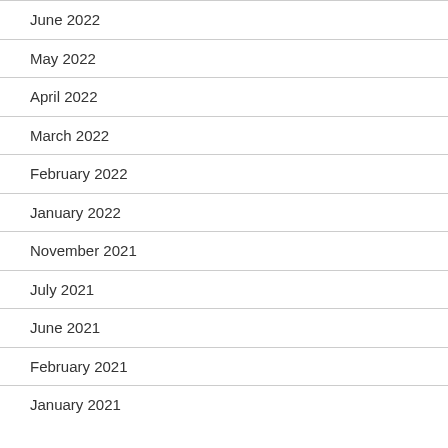June 2022
May 2022
April 2022
March 2022
February 2022
January 2022
November 2021
July 2021
June 2021
February 2021
January 2021